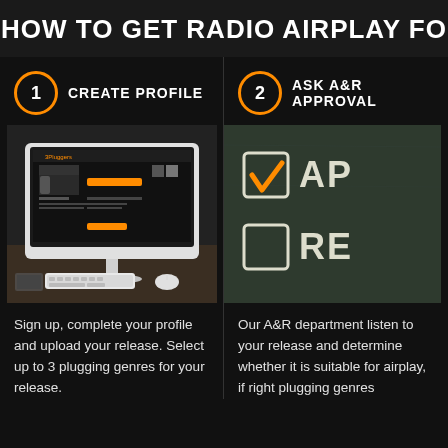HOW TO GET RADIO AIRPLAY FO
1 CREATE PROFILE
[Figure (screenshot): iMac computer displaying a music profile page on a website called 3Pluggers, with keyboard and mouse on a desk]
Sign up, complete your profile and upload your release. Select up to 3 plugging genres for your release.
2 ASK A&R APPROVAL
[Figure (illustration): Chalkboard with a checked checkbox labeled AP and an unchecked checkbox labeled RE, representing approval and rejection]
Our A&R department listen to your release and determine whether it is suitable for airplay, if right plugging genres